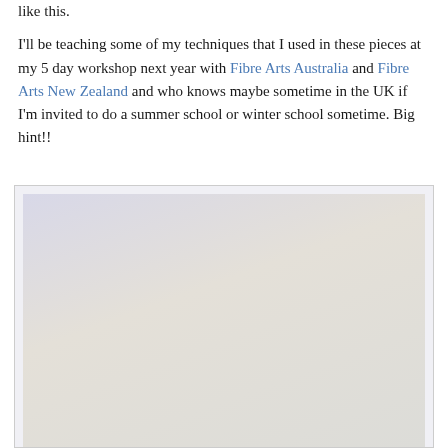like this.

I'll be teaching some of my techniques that I used in these pieces at my 5 day workshop next year with Fibre Arts Australia and Fibre Arts New Zealand and who knows maybe sometime in the UK if I'm invited to do a summer school or winter school sometime. Big hint!!
[Figure (photo): A textile art piece resembling a corset or bodice shape made of layered fabrics with handwritten text stitched or printed on them. The piece is hung by two antique metal binder clips on a wire against a light lavender-grey background. The garment has layers of sheer and opaque cream/white fabrics with cursive script text visible throughout.]